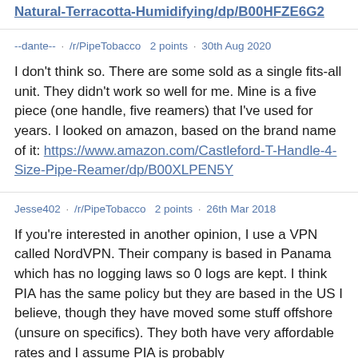Natural-Terracotta-Humidifying/dp/B00HFZE6G2
--dante-- · /r/PipeTobacco  2 points · 30th Aug 2020
I don't think so. There are some sold as a single fits-all unit. They didn't work so well for me. Mine is a five piece (one handle, five reamers) that I've used for years. I looked on amazon, based on the brand name of it: https://www.amazon.com/Castleford-T-Handle-4-Size-Pipe-Reamer/dp/B00XLPEN5Y
Jesse402 · /r/PipeTobacco  2 points · 26th Mar 2018
If you're interested in another opinion, I use a VPN called NordVPN. Their company is based in Panama which has no logging laws so 0 logs are kept. I think PIA has the same policy but they are based in the US I believe, though they have moved some stuff offshore (unsure on specifics). They both have very affordable rates and I assume PIA is probably